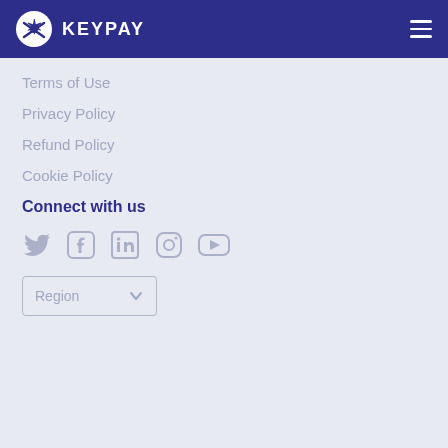KEYPAY
Terms of Use
Privacy Policy
Refund Policy
Cookie Policy
Connect with us
[Figure (infographic): Social media icons: Twitter, Facebook, LinkedIn, Instagram, YouTube]
[Figure (other): Region dropdown selector]